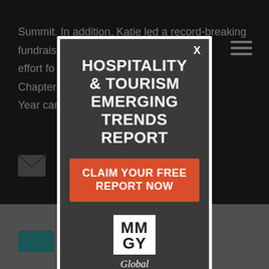Summit. In addition, Katie led a record-breaking fundraising effort for the Midwest Chapter ... an of the Year cam...
[Figure (screenshot): Modal popup advertisement for 'Hospitality & Tourism Emerging Trends Report' by MMGY Global, with a red 'Claim Your Free Report Now' button, on a dark background webpage.]
HOSPITALITY & TOURISM EMERGING TRENDS REPORT
CLAIM YOUR FREE REPORT NOW
[Figure (logo): MMGY Global logo — white box with MM GY text, 'Global' written below in italic]